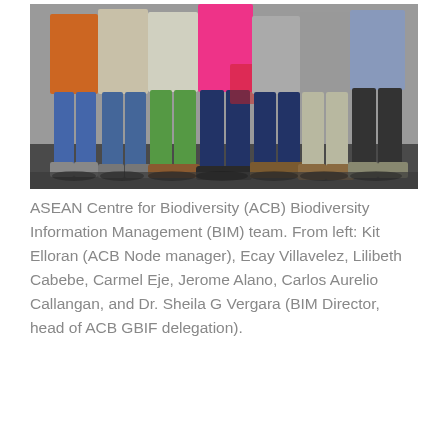[Figure (photo): Group photo of the ASEAN Centre for Biodiversity Biodiversity Information Management team standing outdoors. Seven people visible from approximately waist/thigh down, wearing casual clothes including colorful tops (orange, pink, green) and various footwear on a dark ground surface.]
ASEAN Centre for Biodiversity (ACB) Biodiversity Information Management (BIM) team. From left: Kit Elloran (ACB Node manager), Ecay Villavelez, Lilibeth Cabebe, Carmel Eje, Jerome Alano, Carlos Aurelio Callangan, and Dr. Sheila G Vergara (BIM Director, head of ACB GBIF delegation).